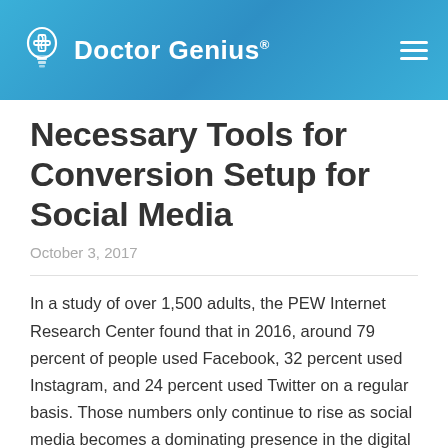Doctor Genius®
Necessary Tools for Conversion Setup for Social Media
October 3, 2017
In a study of over 1,500 adults, the PEW Internet Research Center found that in 2016, around 79 percent of people used Facebook, 32 percent used Instagram, and 24 percent used Twitter on a regular basis. Those numbers only continue to rise as social media becomes a dominating presence in the digital landscape.